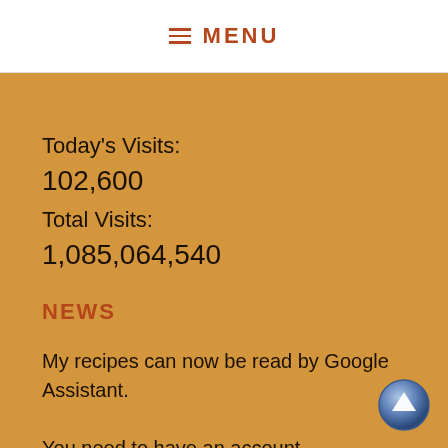≡ MENU
Today's Visits:
102,600
Total Visits:
1,085,064,540
NEWS
My recipes can now be read by Google Assistant.

You need to have an account